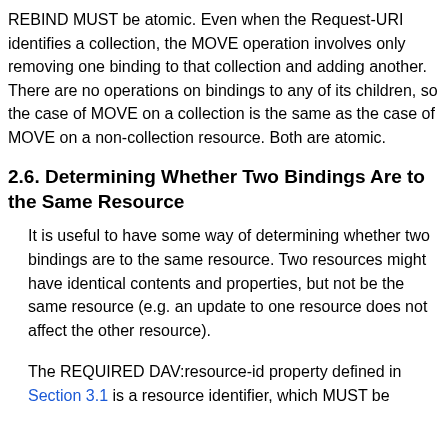REBIND MUST be atomic. Even when the Request-URI identifies a collection, the MOVE operation involves only removing one binding to that collection and adding another. There are no operations on bindings to any of its children, so the case of MOVE on a collection is the same as the case of MOVE on a non-collection resource. Both are atomic.
2.6. Determining Whether Two Bindings Are to the Same Resource
It is useful to have some way of determining whether two bindings are to the same resource. Two resources might have identical contents and properties, but not be the same resource (e.g. an update to one resource does not affect the other resource).
The REQUIRED DAV:resource-id property defined in Section 3.1 is a resource identifier, which MUST be